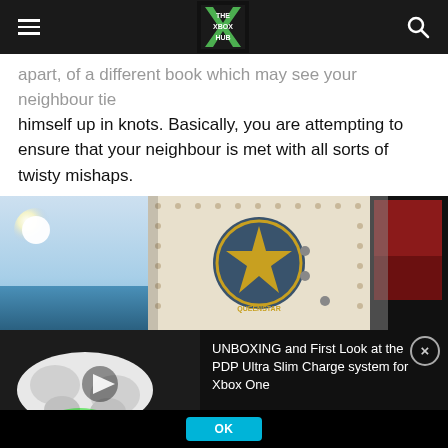THE XBOX HUB
apart, of a different book which may see your neighbour tie himself up in knots. Basically, you are attempting to ensure that your neighbour is met with all sorts of twisty mishaps.
[Figure (screenshot): Game screenshot showing a steampunk/mechanical environment with a star badge logo and red carpet room through a doorway, alongside a sky/ocean scene on the left.]
[Figure (screenshot): Video thumbnail showing Xbox controller charging dock with green LED light and black PDP charger. Title: UNBOXING and First Look at the PDP Ultra Slim Charge system for Xbox One]